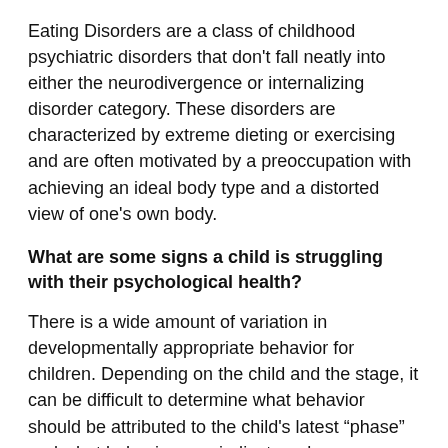Eating Disorders are a class of childhood psychiatric disorders that don't fall neatly into either the neurodivergence or internalizing disorder category. These disorders are characterized by extreme dieting or exercising and are often motivated by a preoccupation with achieving an ideal body type and a distorted view of one's own body.
What are some signs a child is struggling with their psychological health?
There is a wide amount of variation in developmentally appropriate behavior for children. Depending on the child and the stage, it can be difficult to determine what behavior should be attributed to the child's latest “phase” and what behavior may indicate a deeper problem.
Generally, parents are in the best position to carefully observe their kids and to know when they are acting out of character. If you are concerned about your kids’ mental health, here is a list